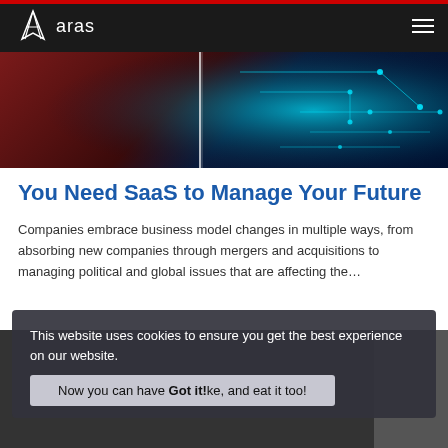aras
[Figure (photo): Hero banner image with red and dark blue background with circuit board pattern overlay]
You Need SaaS to Manage Your Future
Companies embrace business model changes in multiple ways, from absorbing new companies through mergers and acquisitions to managing political and global issues that are affecting the…
[Figure (screenshot): Dark section with text 'Fully customizable PLM SaaS?' and 'Now you can have your cake, and eat it too!']
This website uses cookies to ensure you get the best experience on our website.
Now you can have your cake, and eat it too!